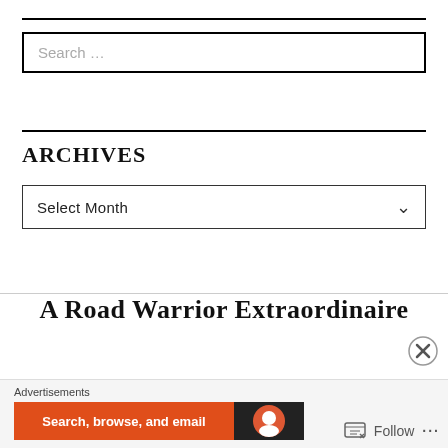[Figure (screenshot): Search input box with placeholder text 'Search ...']
ARCHIVES
[Figure (screenshot): Dropdown select box labeled 'Select Month' with chevron arrow]
A Road Warrior Extraordinaire
[Figure (screenshot): Advertisement banner with 'Advertisements' label, orange section reading 'Search, browse, and email' and dark section with DuckDuckGo logo. Close button (X) and Follow button with ellipsis (···) at bottom right.]